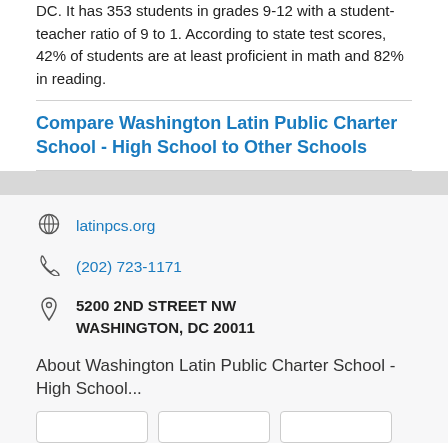DC. It has 353 students in grades 9-12 with a student-teacher ratio of 9 to 1. According to state test scores, 42% of students are at least proficient in math and 82% in reading.
Compare Washington Latin Public Charter School - High School to Other Schools
latinpcs.org
(202) 723-1171
5200 2ND STREET NW
WASHINGTON, DC 20011
About Washington Latin Public Charter School - High School...